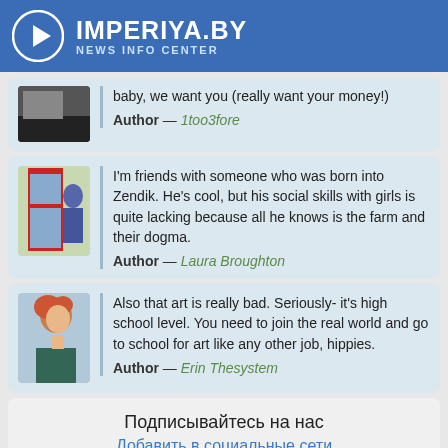IMPERIYA.BY NEWS INFO CENTER
baby, we want you (really want your money!)
Author — 1too3fore
I'm friends with someone who was born into Zendik. He's cool, but his social skills with girls is quite lacking because all he knows is the farm and their dogma.
Author — Laura Broughton
Also that art is really bad. Seriously- it's high school level. You need to join the real world and go to school for art like any other job, hippies.
Author — Erin Thesystem
Подписывайтесь на нас
Добавить в социальные сети